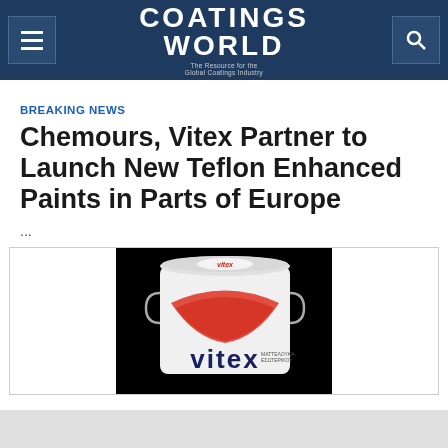Coatings World — The Resource for the Global Coatings Industry
BREAKING NEWS
Chemours, Vitex Partner to Launch New Teflon Enhanced Paints in Parts of Europe
...
[Figure (photo): A white paint bucket with the Vitex brand logo and red graphic design on a black background]